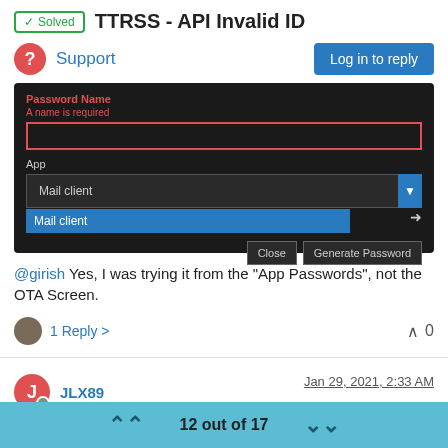✓ Solved  TTRSS - API Invalid ID
Support
[Figure (screenshot): Dark-themed UI dialog showing Password Name field with red border and error 'A name is required', an App dropdown set to 'Mail client' with a blue highlighted option, and Close / Generate Password buttons.]
@girish Yes, I was trying it from the "App Passwords", not the OTA Screen.
1 Reply >   0
JLX89   Jan 29, 2021, 2:33 AM
This post is deleted!
12 out of 17